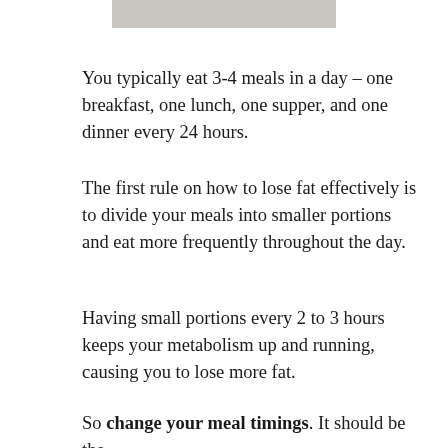[Figure (photo): Partial image of what appears to be a light-colored fabric or surface, cropped at the top of the page.]
You typically eat 3-4 meals in a day – one breakfast, one lunch, one supper, and one dinner every 24 hours.
The first rule on how to lose fat effectively is to divide your meals into smaller portions and eat more frequently throughout the day.
Having small portions every 2 to 3 hours keeps your metabolism up and running, causing you to lose more fat.
So change your meal timings. It should be the first step in your diet program as the diet around